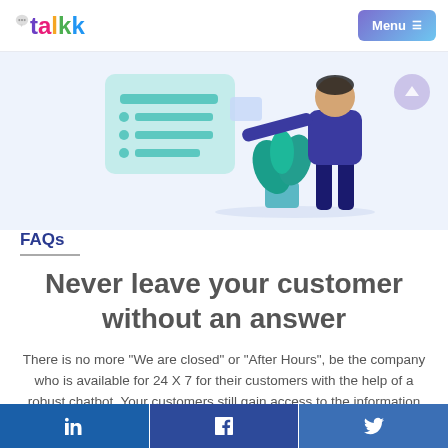talkk  Menu
[Figure (illustration): Light blue background hero illustration showing a person in dark blue clothing standing next to a plant, reaching toward a floating checklist/clipboard panel. Teal checklist card with bullet lines visible on the left side.]
FAQs
Never leave your customer without an answer
There is no more "We are closed" or "After Hours", be the company who is available for 24 X 7 for their customers with the help of a robust chatbot. Your customers still gain access to the information they
in  f  (twitter bird icon)